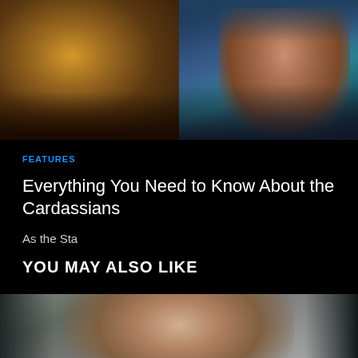[Figure (photo): Two side-by-side images: left shows a Cardassian alien character with brownish-gold tones, right shows a woman with brown hair wearing a teal/blue top]
FEATURES
Everything You Need to Know About the Cardassians
As the Sta
YOU MAY ALSO LIKE
[Figure (photo): Photo of a man with brown hair, blurred grey background, cropped at bottom of page]